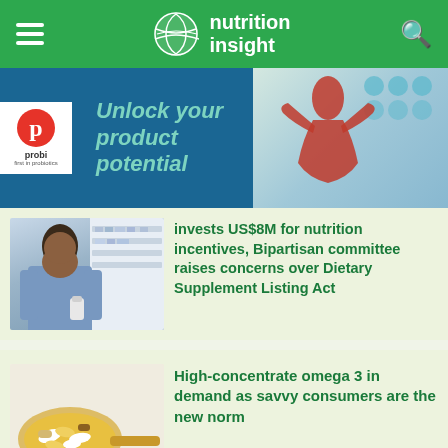nutrition insight
[Figure (illustration): Probi advertisement banner: white Probi logo on left, teal italic text 'Unlock your product potential', right side shows a person in red with geometric dot pattern background]
invests US$8M for nutrition incentives, Bipartisan committee raises concerns over Dietary Supplement Listing Act
[Figure (photo): Man in blue shirt examining supplement bottle in a pharmacy aisle]
High-concentrate omega 3 in demand as savvy consumers are the new norm
[Figure (photo): Gold spoon holding various supplement capsules and pills including yellow and white capsules]